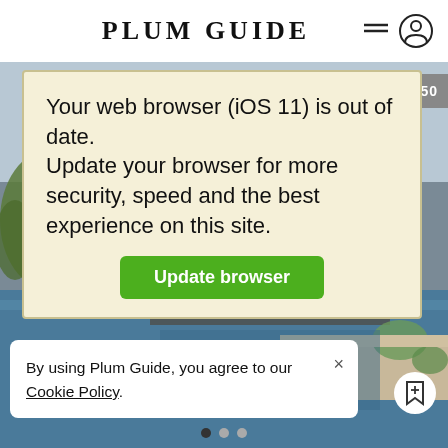[Figure (screenshot): Plum Guide website screenshot showing a luxury villa with infinity pool in the background]
PLUM GUIDE
Your web browser (iOS 11) is out of date.
Update your browser for more security, speed and the best experience on this site.
Update browser
By using Plum Guide, you agree to our Cookie Policy.